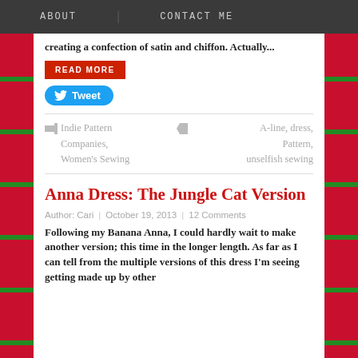ABOUT   CONTACT ME
creating a confection of satin and chiffon. Actually...
READ MORE
Tweet
Indie Pattern Companies, Women's Sewing
A-line, dress, Pattern, unselfish sewing
Anna Dress: The Jungle Cat Version
Author: Cari  |  October 19, 2013  |  12 Comments
Following my Banana Anna, I could hardly wait to make another version; this time in the longer length. As far as I can tell from the multiple versions of this dress I'm seeing getting made up by other